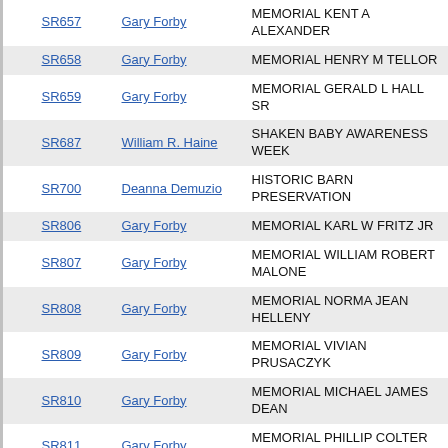|  | SR# | Sponsor | Subject |
| --- | --- | --- | --- |
|  | SR657 | Gary Forby | MEMORIAL KENT A ALEXANDER |
|  | SR658 | Gary Forby | MEMORIAL HENRY M TELLOR |
|  | SR659 | Gary Forby | MEMORIAL GERALD L HALL SR |
|  | SR687 | William R. Haine | SHAKEN BABY AWARENESS WEEK |
|  | SR700 | Deanna Demuzio | HISTORIC BARN PRESERVATION |
|  | SR806 | Gary Forby | MEMORIAL KARL W FRITZ JR |
|  | SR807 | Gary Forby | MEMORIAL WILLIAM ROBERT MALONE |
|  | SR808 | Gary Forby | MEMORIAL NORMA JEAN HELLENY |
|  | SR809 | Gary Forby | MEMORIAL VIVIAN PRUSACZYK |
|  | SR810 | Gary Forby | MEMORIAL MICHAEL JAMES DEAN |
|  | SR811 | Gary Forby | MEMORIAL PHILLIP COLTER FREY |
|  | SR812 | Gary Forby | MEMORIAL IRENE L CROMPTON |
|  | SR824 | Gary Forby | MEMORIAL JC MITCHELL |
|  | SR827 | Gary Forby | MEMORIAL GLENDA C BRADFORD |
|  | SR828 | Gary Forby | MEMORIAL RUSSELL OXFORD |